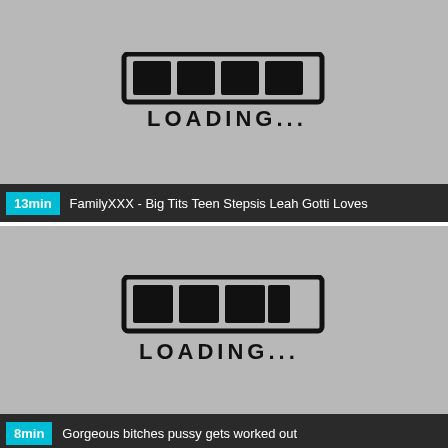[Figure (illustration): Loading bar graphic with 4 filled black squares inside a hand-drawn rectangle border, and the text LOADING... beneath in bold hand-drawn style lettering, on a gray background]
13min  FamilyXXX - Big Tits Teen Stepsis Leah Gotti Loves
[Figure (illustration): Loading bar graphic with 4 filled black squares inside a hand-drawn rectangle border, and the text LOADING... beneath in bold hand-drawn style lettering, on a gray background]
8min  Gorgeous bitches pussy gets worked out